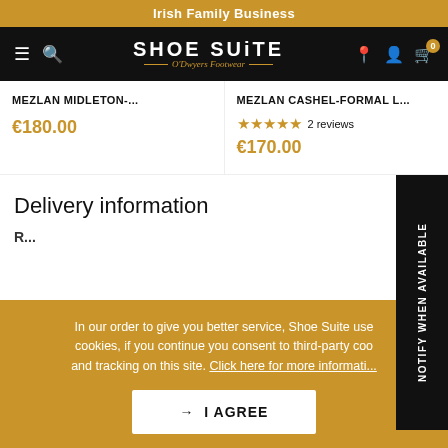Irish Family Business
[Figure (screenshot): Shoe Suite O'Dwyers Footwear navigation bar with hamburger menu, search, logo, location pin, user account, and cart icons on black background]
MEZLAN MIDLETON-... €180.00
MEZLAN CASHEL-FORMAL L... ★★★★★ 2 reviews €170.00
Delivery information
In our order to give you better service, Shoe Suite uses cookies, if you continue you consent to third-party cookies and tracking on this site. Click here for more information
→ I AGREE